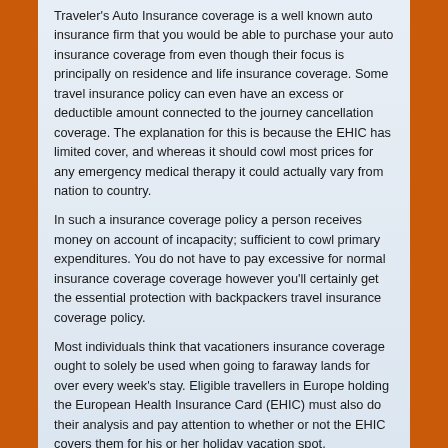Traveler's Auto Insurance coverage is a well known auto insurance firm that you would be able to purchase your auto insurance coverage from even though their focus is principally on residence and life insurance coverage. Some travel insurance policy can even have an excess or deductible amount connected to the journey cancellation coverage. The explanation for this is because the EHIC has limited cover, and whereas it should cowl most prices for any emergency medical therapy it could actually vary from nation to country.
In such a insurance coverage policy a person receives money on account of incapacity; sufficient to cowl primary expenditures. You do not have to pay excessive for normal insurance coverage coverage however you'll certainly get the essential protection with backpackers travel insurance coverage policy.
Most individuals think that vacationers insurance coverage ought to solely be used when going to faraway lands for over every week's stay. Eligible travellers in Europe holding the European Health Insurance Card (EHIC) must also do their analysis and pay attention to whether or not the EHIC covers them for his or her holiday vacation spot.